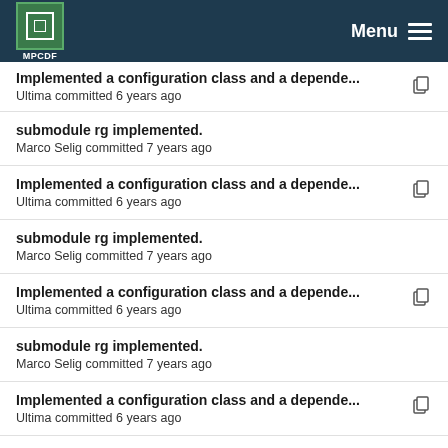MPCDF Menu
Implemented a configuration class and a depende... Ultima committed 6 years ago
submodule rg implemented. Marco Selig committed 7 years ago
Implemented a configuration class and a depende... Ultima committed 6 years ago
submodule rg implemented. Marco Selig committed 7 years ago
Implemented a configuration class and a depende... Ultima committed 6 years ago
submodule rg implemented. Marco Selig committed 7 years ago
Implemented a configuration class and a depende... Ultima committed 6 years ago
rg_space now fully d2o capable Ultima committed 7...